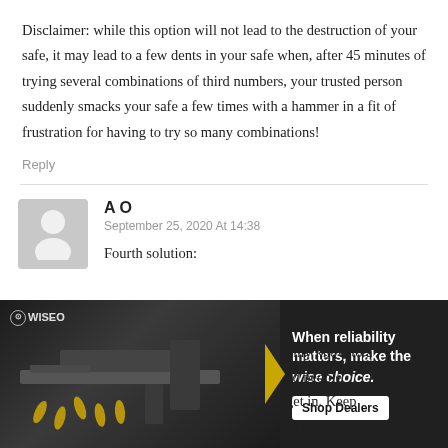Disclaimer: while this option will not lead to the destruction of your safe, it may lead to a few dents in your safe when, after 45 minutes of trying several combinations of third numbers, your trusted person suddenly smacks your safe a few times with a hammer in a fit of frustration for having to try so many combinations!
Reply
A O
September 25, 2020 At 14:38
Fourth solution:
Have a second safe in a location only know to a [trusted] people [that can] get in. Keep [... for] the NFA stuff [...]
[Figure (photo): Advertisement showing a rifle/firearm with ammunition on dark background, with text overlay: 'When reliability matters, make the wise choice.' and 'Shop Dealers' button, WISEO brand logo visible top left]